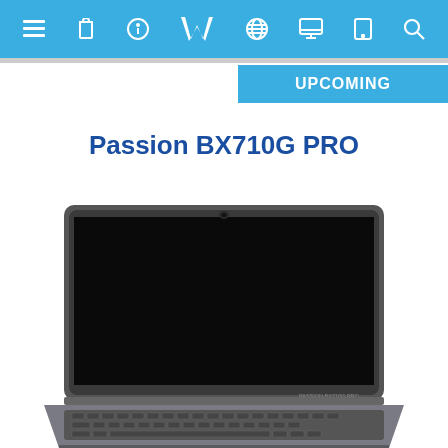Navigation bar with menu, bag, info, logo, globe, display, phone, search icons
UPCOMING
Passion BX710G PRO
[Figure (photo): Laptop computer (Passion BX710G PRO) viewed from the front, open, with a black screen, silver/dark body and keyboard visible at the bottom edge]